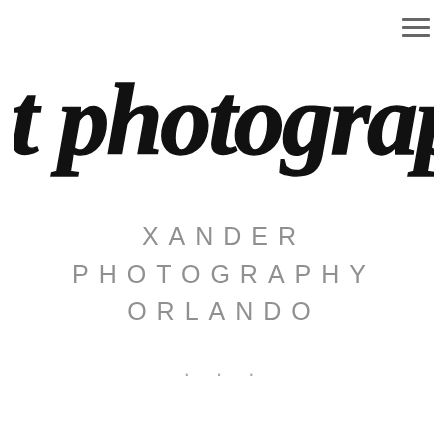[Figure (logo): kait photography handwritten brush script logo in black]
XANDER PHOTOGRAPHY ORLANDO
...